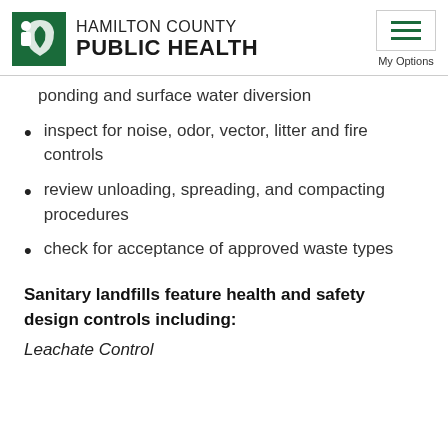HAMILTON COUNTY PUBLIC HEALTH
ponding and surface water diversion
inspect for noise, odor, vector, litter and fire controls
review unloading, spreading, and compacting procedures
check for acceptance of approved waste types
Sanitary landfills feature health and safety design controls including:
Leachate Control